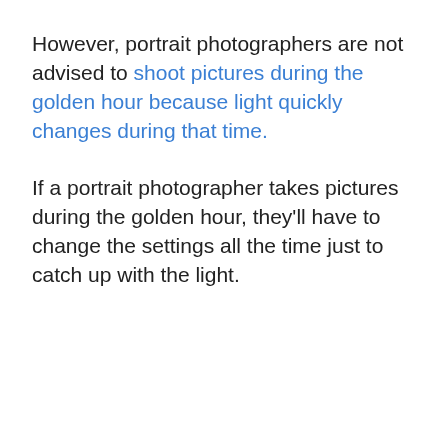However, portrait photographers are not advised to shoot pictures during the golden hour because light quickly changes during that time.
If a portrait photographer takes pictures during the golden hour, they'll have to change the settings all the time just to catch up with the light.